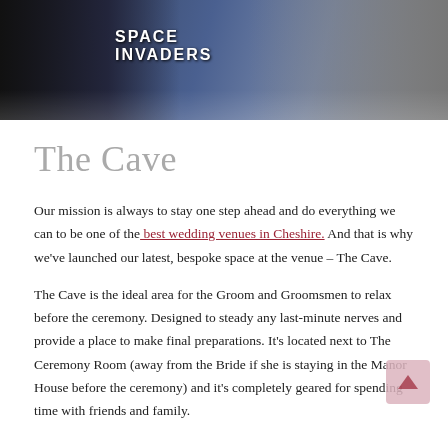[Figure (photo): Photo strip at top of page showing people in a venue setting. A person wearing a 'SPACE INVADERS' jacket is visible on the left, with others in the background.]
The Cave
Our mission is always to stay one step ahead and do everything we can to be one of the best wedding venues in Cheshire. And that is why we've launched our latest, bespoke space at the venue – The Cave.
The Cave is the ideal area for the Groom and Groomsmen to relax before the ceremony. Designed to steady any last-minute nerves and provide a place to make final preparations. It's located next to The Ceremony Room (away from the Bride if she is staying in the Manor House before the ceremony) and it's completely geared for spending time with friends and family.